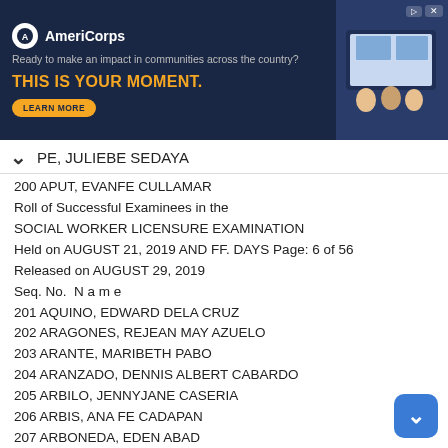[Figure (other): AmeriCorps advertisement banner with dark blue background, logo, tagline 'Ready to make an impact in communities across the country?', headline 'THIS IS YOUR MOMENT.' in orange, LEARN MORE button, and photo of students at computers.]
PE, JULIEBE SEDAYA
200 APUT, EVANFE CULLAMAR
Roll of Successful Examinees in the
SOCIAL WORKER LICENSURE EXAMINATION
Held on AUGUST 21, 2019 AND FF. DAYS Page: 6 of 56
Released on AUGUST 29, 2019
Seq. No.  N a m e
201 AQUINO, EDWARD DELA CRUZ
202 ARAGONES, REJEAN MAY AZUELO
203 ARANTE, MARIBETH PABO
204 ARANZADO, DENNIS ALBERT CABARDO
205 ARBILO, JENNYJANE CASERIA
206 ARBIS, ANA FE CADAPAN
207 ARBONEDA, EDEN ABAD
208 ARCAY, SHARON MAY JORING
209 ARCENAL, CRISTY DIANON
210 ARCENAL, HERMIE JOY CASTRO